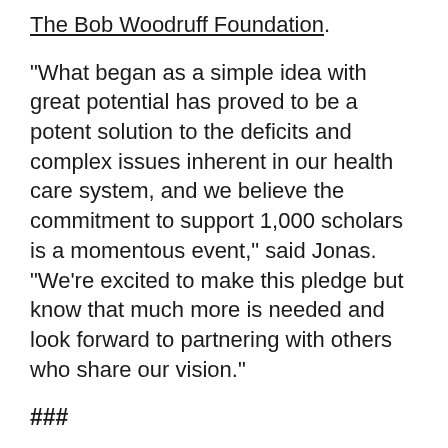The Bob Woodruff Foundation.
“What began as a simple idea with great potential has proved to be a potent solution to the deficits and complex issues inherent in our health care system, and we believe the commitment to support 1,000 scholars is a momentous event,” said Jonas. “We’re excited to make this pledge but know that much more is needed and look forward to partnering with others who share our vision.”
###
Contact: Olivia Goodman, gabbegroup, 212-220-4444, olivia.goodman@gabbe.com